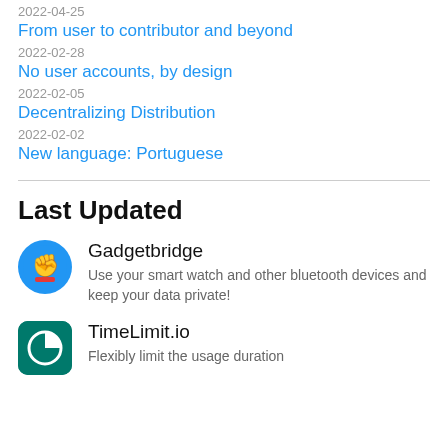2022-04-25
From user to contributor and beyond
2022-02-28
No user accounts, by design
2022-02-05
Decentralizing Distribution
2022-02-02
New language: Portuguese
Last Updated
Gadgetbridge
Use your smart watch and other bluetooth devices and keep your data private!
TimeLimit.io
Flexibly limit the usage duration